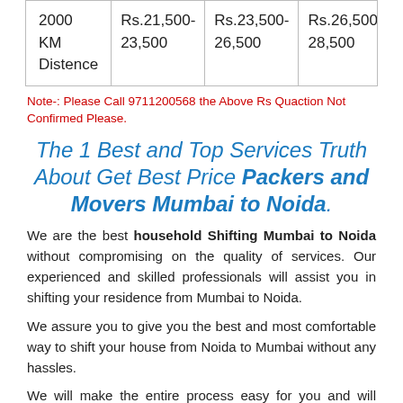| 2000 KM Distence | Rs.21,500-23,500 | Rs.23,500-26,500 | Rs.26,500-28,500 | Rs.16,500-19,500 |
Note-: Please Call 9711200568 the Above Rs Quaction Not Confirmed Please.
The 1 Best and Top Services Truth About Get Best Price Packers and Movers Mumbai to Noida.
We are the best household Shifting Mumbai to Noida without compromising on the quality of services. Our experienced and skilled professionals will assist you in shifting your residence from Mumbai to Noida.
We assure you to give you the best and most comfortable way to shift your house from Noida to Mumbai without any hassles.
We will make the entire process easy for you and will make the whole process hassle-free. We also have a team of skilled